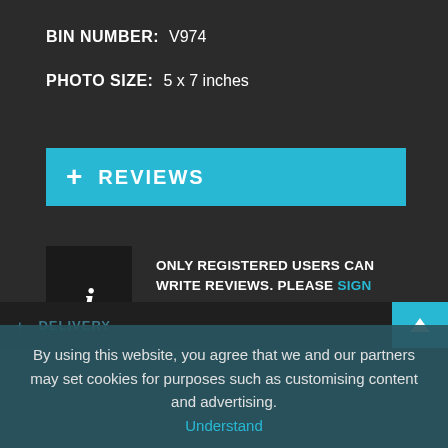BIN NUMBER:   V974
PHOTO SIZE:   5 x 7 inches
+ REVIEWS
[Figure (infographic): Info icon box (black background with italic 'i') alongside text: ONLY REGISTERED USERS CAN WRITE REVIEWS. PLEASE SIGN IN OR CREATE AN ACCOUNT]
ONLY REGISTERED USERS CAN WRITE REVIEWS. PLEASE SIGN IN OR CREATE AN ACCOUNT
By using this website, you agree that we and our partners may set cookies for purposes such as customising content and advertising. Understand